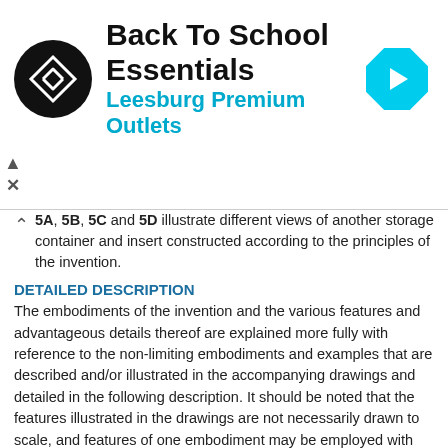[Figure (logo): Back To School Essentials - Leesburg Premium Outlets advertisement banner with circular black logo, navigation arrow icon, and close/skip controls]
5A, 5B, 5C and 5D illustrate different views of another storage container and insert constructed according to the principles of the invention.
DETAILED DESCRIPTION
The embodiments of the invention and the various features and advantageous details thereof are explained more fully with reference to the non-limiting embodiments and examples that are described and/or illustrated in the accompanying drawings and detailed in the following description. It should be noted that the features illustrated in the drawings are not necessarily drawn to scale, and features of one embodiment may be employed with other embodiments as the skilled artisan would recognize, even if not explicitly stated herein. Descriptions of well-known components and processing techniques may be omitted so as to not unnecessarily obscure the embodiments of the invention. The examples used herein are intended merely to facilitate an understanding of ways in which the invention may be practiced and to further enable those of skill in the art to practice the embodiments of the invention. Accordingly, the examples and embodiments herein should not be construed as limiting the scope of the invention, which is defined solely by the appended claims and